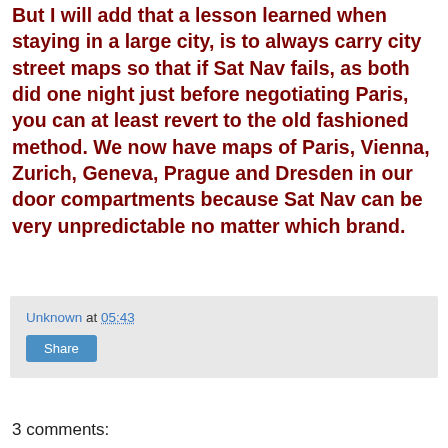But I will add that a lesson learned when staying in a large city, is to always carry city street maps so that if Sat Nav fails, as both did one night just before negotiating Paris, you can at least revert to the old fashioned method. We now have maps of Paris, Vienna, Zurich, Geneva, Prague and Dresden in our door compartments because Sat Nav can be very unpredictable no matter which brand.
Unknown at 05:43
Share
3 comments:
Anonymous 4 October 2014 at 12:09
Keith, Poland and Czech Republic joined the EU way back in 2004...